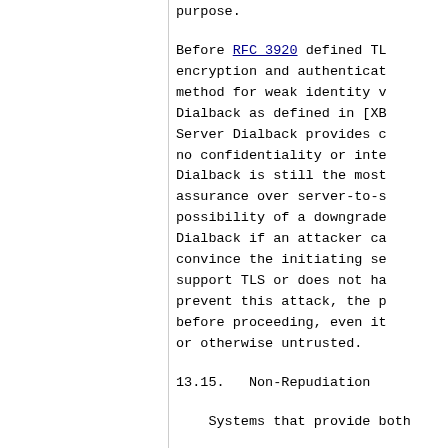purpose.
Before RFC 3920 defined TLS encryption and authentication method for weak identity verification, Dialback as defined in [XB... Server Dialback provides confidentiality no confidentiality or integrity... Dialback is still the most... assurance over server-to-s... possibility of a downgrade... Dialback if an attacker can convince the initiating se... support TLS or does not ha... prevent this attack, the p... before proceeding, even it... or otherwise untrusted.
13.15.  Non-Repudiation
Systems that provide both